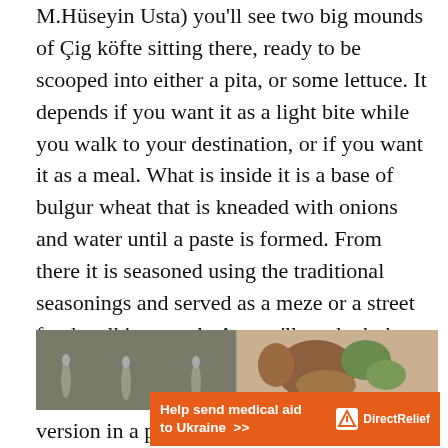M.Hüseyin Usta) you'll see two big mounds of Çig köfte sitting there, ready to be scooped into either a pita, or some lettuce. It depends if you want it as a light bite while you walk to your destination, or if you want it as a meal. What is inside it is a base of bulgur wheat that is kneaded with onions and water until a paste is formed. From there it is seasoned using the traditional seasonings and served as a meze or a street food walking snack. As you'll no doubt be full by the time you get here on your Istanbul food tour, getting the single bite version in a piece of lettuce is the way to go.
[Figure (photo): Partial photo of food items, appears to show street food or market scene with figures/bottles visible on left and food with greenery on the right]
Help send medical aid to Ukraine >> DirectRelief